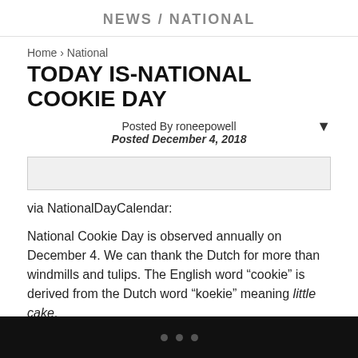NEWS / NATIONAL
Home › National
TODAY IS-NATIONAL COOKIE DAY
Posted By roneepowell
Posted December 4, 2018
[Figure (other): Image placeholder bar]
via NationalDayCalendar:
National Cookie Day is observed annually on December 4. We can thank the Dutch for more than windmills and tulips. The English word “cookie” is derived from the Dutch word “koekie” meaning little cake.
There have been cookie-like hard wafers in existence for as